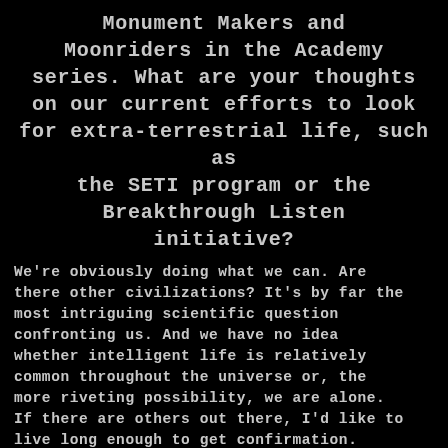Monument Makers and Moonriders in the Academy series. What are your thoughts on our current efforts to look for extra-terrestrial life, such as the SETI program or the Breakthrough Listen initiative?
We're obviously doing what we can. Are there other civilizations? It's by far the most intriguing scientific question confronting us. And we have no idea whether intelligent life is relatively common throughout the universe or, the more riveting possibility, we are alone. If there are others out there, I'd like to live long enough to get confirmation.